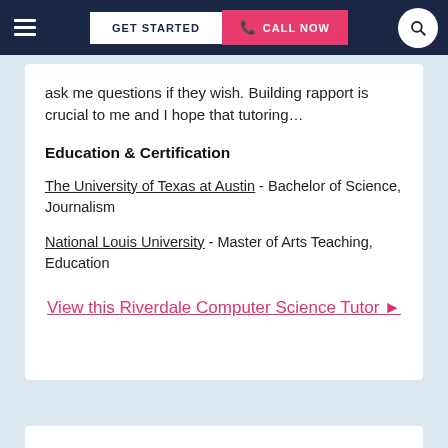GET STARTED | CALL NOW
ask me questions if they wish. Building rapport is crucial to me and I hope that tutoring...
Education & Certification
The University of Texas at Austin - Bachelor of Science, Journalism
National Louis University - Master of Arts Teaching, Education
View this Riverdale Computer Science Tutor ▶